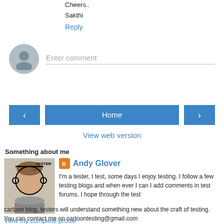Cheers..
Sakthi
Reply
[Figure (other): Comment input area with default user avatar and 'Enter comment' placeholder text]
[Figure (other): Navigation buttons: left arrow, Home, right arrow]
View web version
Something about me
[Figure (photo): Profile photo of Andy Glover - a man with a tester headset graphic overlay]
Andy Glover
I'm a tester, I test, some days I enjoy testing. I follow a few testing blogs and when ever I can I add comments in test forums. I hope through the test cartoon blog, testers will understand something new about the craft of testing. You can contact me on cartoontesting@gmail.com
View my complete profile